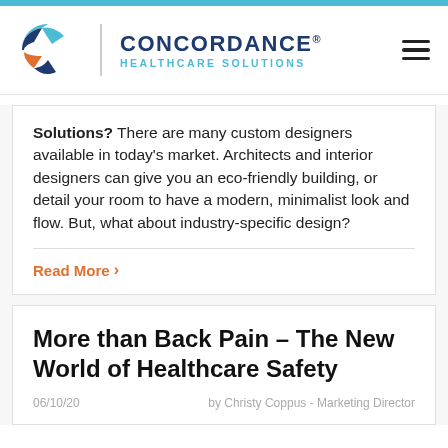[Figure (logo): Concordance Healthcare Solutions logo with geometric C icon and text]
Solutions? There are many custom designers available in today's market. Architects and interior designers can give you an eco-friendly building, or detail your room to have a modern, minimalist look and flow. But, what about industry-specific design?
Read More >
More than Back Pain – The New World of Healthcare Safety
06/10/20    by Christy Coppus - Marketing Director